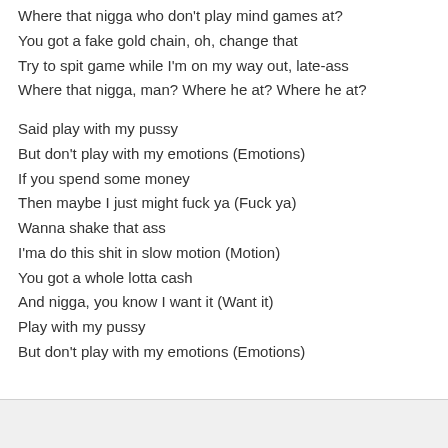Where that nigga who don't play mind games at?
You got a fake gold chain, oh, change that
Try to spit game while I'm on my way out, late-ass
Where that nigga, man? Where he at? Where he at?
Said play with my pussy
But don't play with my emotions (Emotions)
If you spend some money
Then maybe I just might fuck ya (Fuck ya)
Wanna shake that ass
I'ma do this shit in slow motion (Motion)
You got a whole lotta cash
And nigga, you know I want it (Want it)
Play with my pussy
But don't play with my emotions (Emotions)